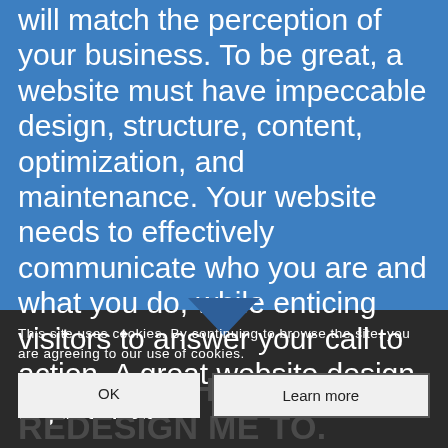will match the perception of your business. To be great, a website must have impeccable design, structure, content, optimization, and maintenance. Your website needs to effectively communicate who you are and what you do, while enticing visitors to answer your call to action. A great website design is just that.
This site uses cookies. By continuing to browse the site, you are agreeing to our use of cookies.
OK
Learn more
DECIDE WHETHER TO REDESIGN ME TO. WEBSITE.